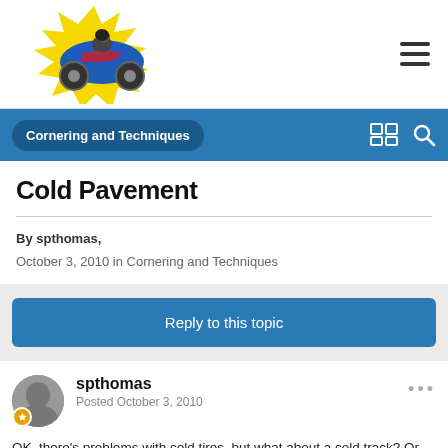[Figure (logo): Motorcycle forum logo with a blue sport bike on a yellow starburst background]
Cornering and Techniques
Cold Pavement
By spthomas,
October 3, 2010 in Cornering and Techniques
Reply to this topic
spthomas
Posted October 3, 2010
OK, there's problems with cold tires, but what about a cold track? Or more to the point, what temperature is a practical lower limit for a track day? I've had good traction and feel I can push it on